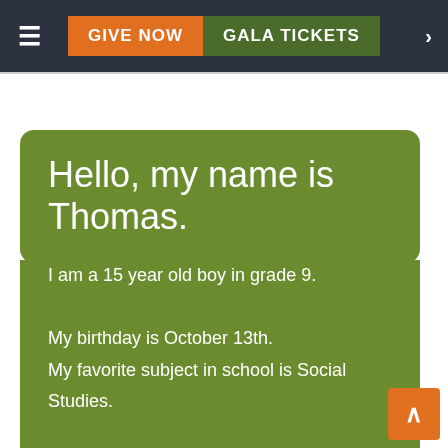GIVE NOW | GALA TICKETS
Hello, my name is Thomas.
I am a 15 year old boy in grade 9.

My birthday is October 13th.

My favorite subject in school is Social Studies.

In my free time I enjoy Football / Soccer.